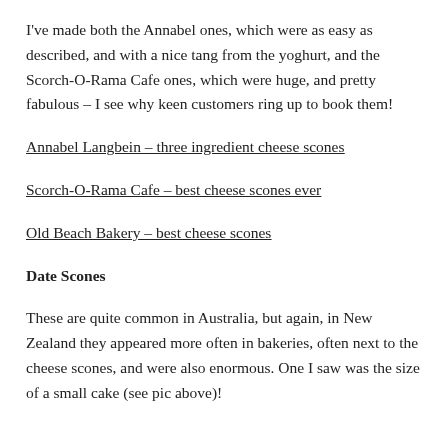I've made both the Annabel ones, which were as easy as described, and with a nice tang from the yoghurt, and the Scorch-O-Rama Cafe ones, which were huge, and pretty fabulous – I see why keen customers ring up to book them!
Annabel Langbein – three ingredient cheese scones
Scorch-O-Rama Cafe – best cheese scones ever
Old Beach Bakery – best cheese scones
Date Scones
These are quite common in Australia, but again, in New Zealand they appeared more often in bakeries, often next to the cheese scones, and were also enormous. One I saw was the size of a small cake (see pic above)!